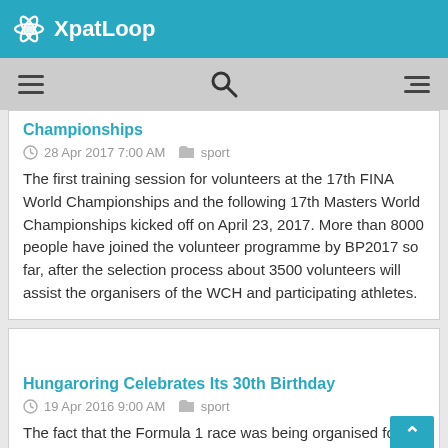XpatLoop
Championships
28 Apr 2017 7:00 AM   sport
The first training session for volunteers at the 17th FINA World Championships and the following 17th Masters World Championships kicked off on April 23, 2017. More than 8000 people have joined the volunteer programme by BP2017 so far, after the selection process about 3500 volunteers will assist the organisers of the WCH and participating athletes.
Hungaroring Celebrates Its 30th Birthday
19 Apr 2016 9:00 AM   sport
The fact that the Formula 1 race was being organised for the